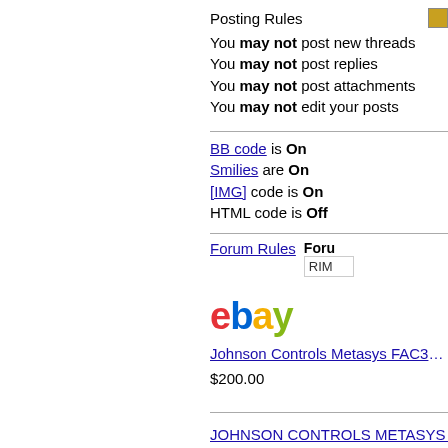Posting Rules
You may not post new threads
You may not post replies
You may not post attachments
You may not edit your posts
BB code is On
Smilies are On
[IMG] code is On
HTML code is Off
Forum Rules
[Figure (logo): eBay logo in red, blue, yellow, and green lettering]
Johnson Controls Metasys FAC3613-0
$200.00
JOHNSON CONTROLS METASYS N